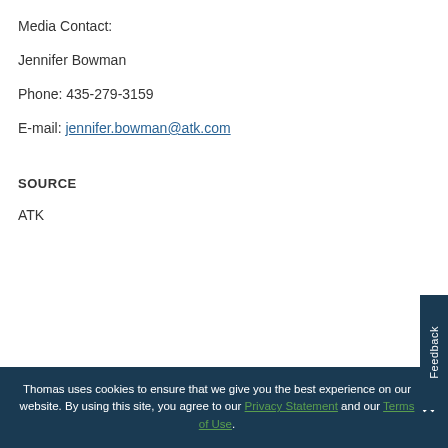Media Contact:
Jennifer Bowman
Phone: 435-279-3159
E-mail: jennifer.bowman@atk.com
SOURCE
ATK
Thomas uses cookies to ensure that we give you the best experience on our website. By using this site, you agree to our Privacy Statement and our Terms of Use.